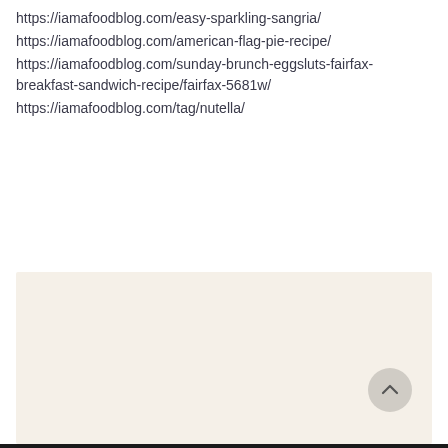https://iamafoodblog.com/easy-sparkling-sangria/
https://iamafoodblog.com/american-flag-pie-recipe/
https://iamafoodblog.com/sunday-brunch-eggsluts-fairfax-breakfast-sandwich-recipe/fairfax-5681w/
https://iamafoodblog.com/tag/nutella/
[Figure (other): Beige/cream colored rectangular content area with a circular scroll-to-top button in the bottom right corner, and a dark bar at the very bottom of the page.]